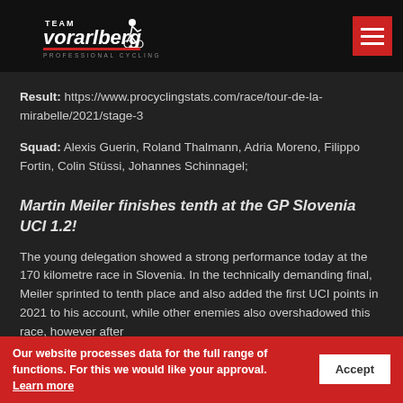Team Vorarlberg Professional Cycling logo and navigation
Result: https://www.procyclingstats.com/race/tour-de-la-mirabelle/2021/stage-3
Squad: Alexis Guerin, Roland Thalmann, Adria Moreno, Filippo Fortin, Colin Stüssi, Johannes Schinnagel;
Martin Meiler finishes tenth at the GP Slovenia UCI 1.2!
The young delegation showed a strong performance today at the 170 kilometre race in Slovenia. In the technically demanding final, Meiler sprinted to tenth place and also added the first UCI points in 2021 to his account. While other enemies also overshadowed this race, however after
Our website processes data for the full range of functions. For this we would like your approval. Learn more  Accept